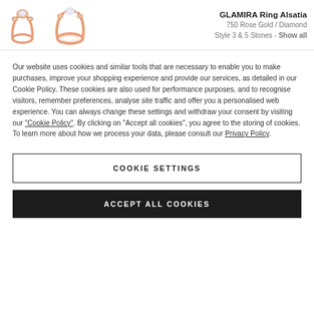[Figure (photo): Two rose gold diamond rings (GLAMIRA Ring Alsatia) shown from different angles on white background]
GLAMIRA Ring Alsatia
750 Rose Gold / Diamond
Style 3 & 5 Stones - Show all
Our website uses cookies and similar tools that are necessary to enable you to make purchases, improve your shopping experience and provide our services, as detailed in our Cookie Policy. These cookies are also used for performance purposes, and to recognise visitors, remember preferences, analyse site traffic and offer you a personalised web experience. You can always change these settings and withdraw your consent by visiting our “Cookie Policy”. By clicking on “Accept all cookies”, you agree to the storing of cookies. To learn more about how we process your data, please consult our Privacy Policy.
COOKIE SETTINGS
ACCEPT ALL COOKIES